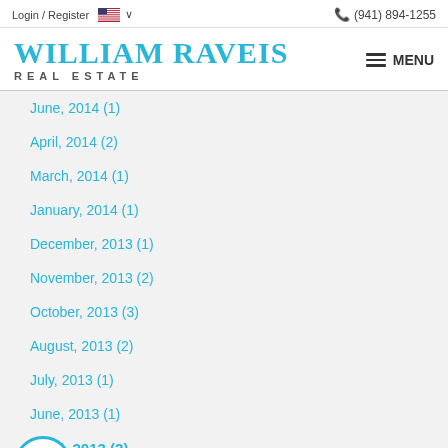Login / Register  🇺🇸 ∨    (941) 894-1255
WILLIAM RAVEIS REAL ESTATE
June, 2014  (1)
April, 2014  (2)
March, 2014  (1)
January, 2014  (1)
December, 2013  (1)
November, 2013  (2)
October, 2013  (3)
August, 2013  (2)
July, 2013  (1)
June, 2013  (1)
April, 2013  (2)